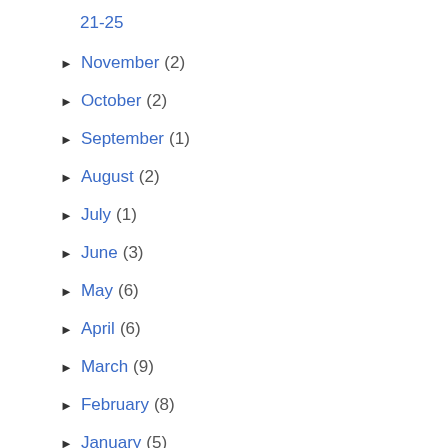21-25
► November (2)
► October (2)
► September (1)
► August (2)
► July (1)
► June (3)
► May (6)
► April (6)
► March (9)
► February (8)
► January (5)
► 2019 (68)
► 2018 (100)
► 2017 (118)
► 2016 (136)